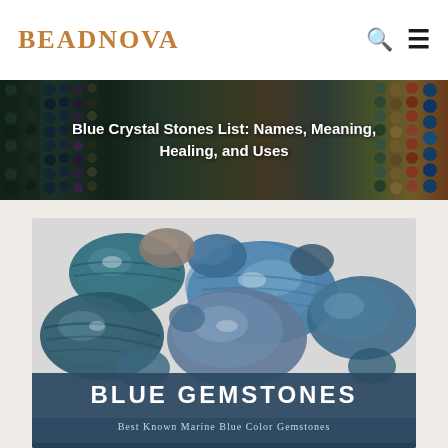BEADNOVA
Blue Crystal Stones List: Names, Meaning, Healing, and Uses
[Figure (photo): Blue gemstones tumbled stones pile with text overlay 'BLUE GEMSTONES - Best Known Marine Blue Color Gemstones']